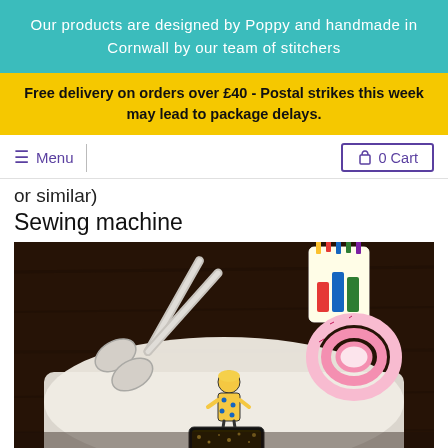Our products are designed by Poppy and handmade in Cornwall by our team of stitchers
Free delivery on orders over £40 - Postal strikes this week may lead to package delays.
≡ Menu | 🛍 0 Cart
or similar)
Sewing machine
[Figure (photo): Flat lay photo on a dark wood table showing sewing and crafting supplies: a white tray or apron with a drawn figure of a girl in a yellow dress with polka dots, large fabric scissors, a pink measuring tape coiled up, a pencil/pen holder mug with illustrated buildings, and a black phone or device with gold glitter.]